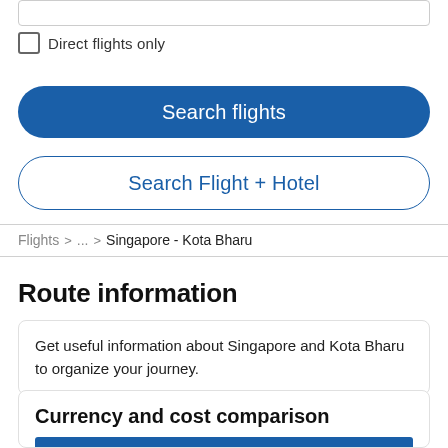Direct flights only
Search flights
Search Flight + Hotel
Flights > ... > Singapore - Kota Bharu
Route information
Get useful information about Singapore and Kota Bharu to organize your journey.
Currency and cost comparison